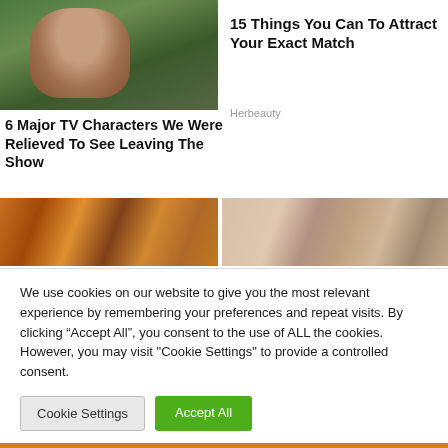[Figure (photo): Woman looking serious, outdoor background]
6 Major TV Characters We Were Relieved To See Leaving The Show
Brainberries
15 Things You Can To Attract Your Exact Match
Herbeauty
[Figure (photo): Ancient Egyptian style painting with two figures in profile]
[Figure (photo): Two people photos side by side]
We use cookies on our website to give you the most relevant experience by remembering your preferences and repeat visits. By clicking “Accept All”, you consent to the use of ALL the cookies. However, you may visit "Cookie Settings" to provide a controlled consent.
Cookie Settings
Accept All